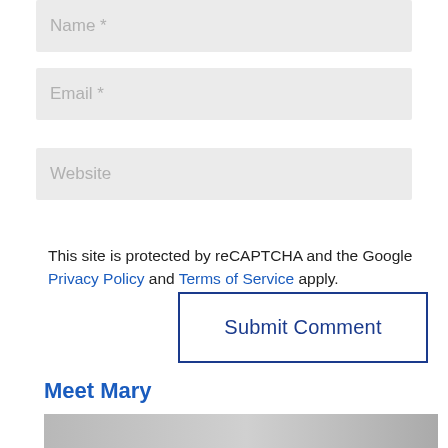Name *
Email *
Website
This site is protected by reCAPTCHA and the Google Privacy Policy and Terms of Service apply.
Submit Comment
Meet Mary
[Figure (photo): Partial photo visible at bottom of page, black and white]